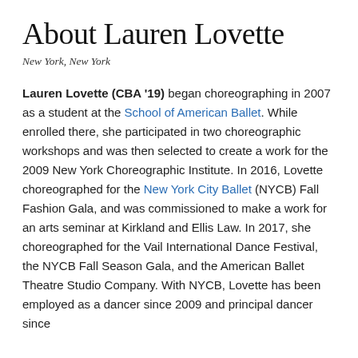About Lauren Lovette
New York, New York
Lauren Lovette (CBA '19) began choreographing in 2007 as a student at the School of American Ballet. While enrolled there, she participated in two choreographic workshops and was then selected to create a work for the 2009 New York Choreographic Institute. In 2016, Lovette choreographed for the New York City Ballet (NYCB) Fall Fashion Gala, and was commissioned to make a work for an arts seminar at Kirkland and Ellis Law. In 2017, she choreographed for the Vail International Dance Festival, the NYCB Fall Season Gala, and the American Ballet Theatre Studio Company. With NYCB, Lovette has been employed as a dancer since 2009 and principal dancer since